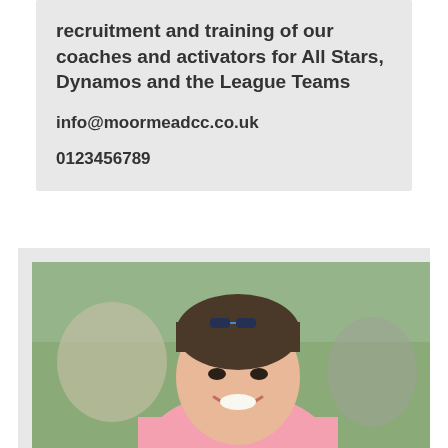recruitment and training of our coaches and activators for All Stars, Dynamos and the League Teams
info@moormeadcc.co.uk
0123456789
[Figure (photo): Portrait photo of a smiling middle-aged man with dark hair wearing a pink polo shirt, photographed outdoors with blurred background showing greenery and other people.]